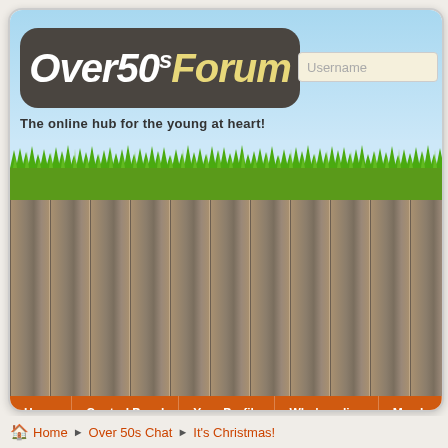[Figure (screenshot): Over50sForum website header screenshot with logo, sky background, grass, wood fence panels, orange navigation bar with Home, Control Panel, Your Profile, Who's online, Members links, and a welcome message bar.]
Home ▶ Over 50s Chat ▶ It's Christmas!